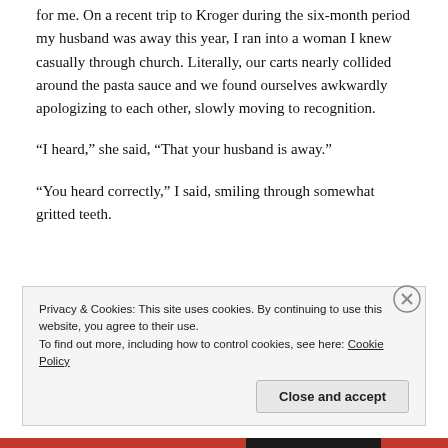for me. On a recent trip to Kroger during the six-month period my husband was away this year, I ran into a woman I knew casually through church. Literally, our carts nearly collided around the pasta sauce and we found ourselves awkwardly apologizing to each other, slowly moving to recognition.
“I heard,” she said, “That your husband is away.”
“You heard correctly,” I said, smiling through somewhat gritted teeth.
Privacy & Cookies: This site uses cookies. By continuing to use this website, you agree to their use.
To find out more, including how to control cookies, see here: Cookie Policy
Close and accept